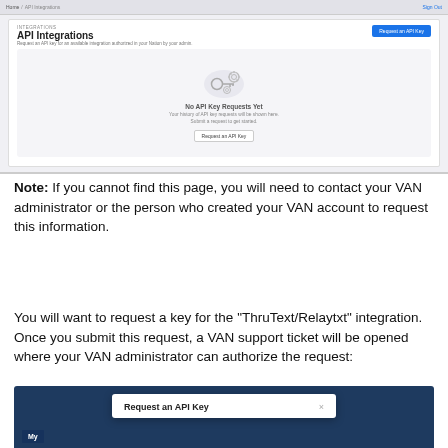[Figure (screenshot): Screenshot of a VAN API Integrations page showing an empty state with a key and gear icon, 'No API Key Requests Yet' message, and a 'Request an API Key' button in the top right.]
Note: If you cannot find this page, you will need to contact your VAN administrator or the person who created your VAN account to request this information.
You will want to request a key for the "ThruText/Relaytxt" integration. Once you submit this request, a VAN support ticket will be opened where your VAN administrator can authorize the request:
[Figure (screenshot): Screenshot showing the bottom portion of the page with a dark blue background and a modal dialog titled 'Request an API Key' with a close button.]